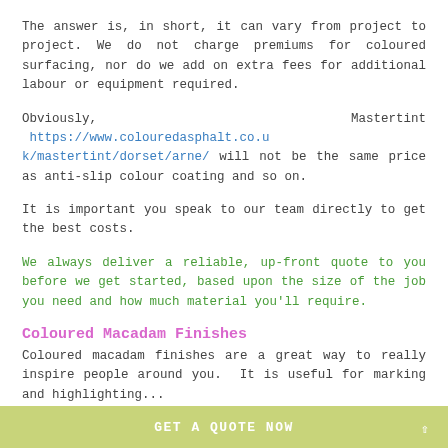The answer is, in short, it can vary from project to project. We do not charge premiums for coloured surfacing, nor do we add on extra fees for additional labour or equipment required.
Obviously, Mastertint https://www.colouredasphalt.co.uk/mastertint/dorset/arne/ will not be the same price as anti-slip colour coating and so on.
It is important you speak to our team directly to get the best costs.
We always deliver a reliable, up-front quote to you before we get started, based upon the size of the job you need and how much material you'll require.
Coloured Macadam Finishes
Coloured macadam finishes are a great way to really inspire people around you. It is useful for marking and highlighting...
GET A QUOTE NOW